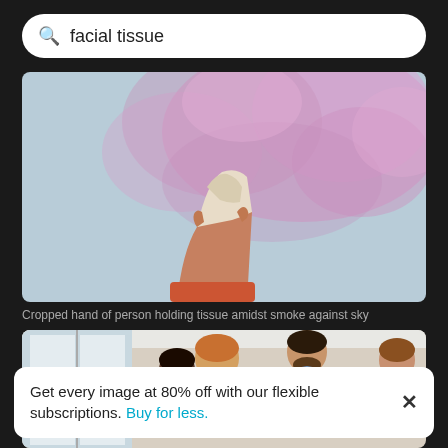facial tissue
[Figure (photo): Cropped hand of person holding tissue amidst pink smoke against blue sky]
Cropped hand of person holding tissue amidst smoke against sky
[Figure (photo): Office scene with people collaborating around a table]
Get every image at 80% off with our flexible subscriptions. Buy for less.